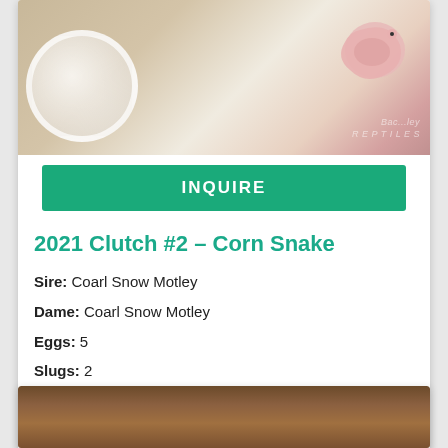[Figure (photo): Photo of a pink/white corn snake coiled on a light substrate, with a white bowl visible on the left side. Watermark text reads 'Bac...ley REPTILES']
INQUIRE
2021 Clutch #2 – Corn Snake
Sire: Coarl Snow Motley
Dame: Coarl Snow Motley
Eggs: 5
Slugs: 2
Layed: 06/23/2021
Hatched: 08/28/2021
Results: 2.2 Coral Snow Motley / 1 egg went bad
[Figure (photo): Partial photo at bottom of page showing brown/earthy textured substrate or wood]